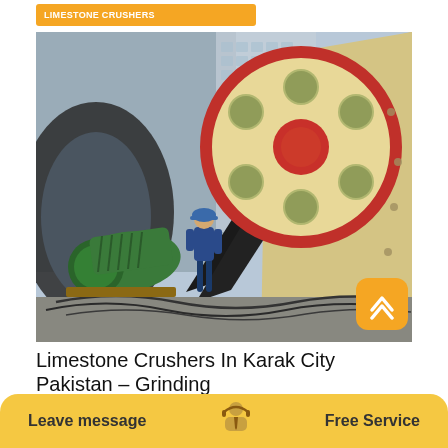[Figure (photo): Large industrial jaw crusher machine with a prominent flywheel (cream/beige with red ring), driven by a green electric motor via a belt drive. A worker in blue coveralls and hard hat stands in front of the machinery at an industrial site.]
Limestone Crushers In Karak City Pakistan – Grinding
Leave message    Free Service